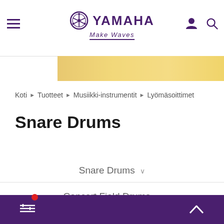Yamaha Make Waves — navigation header
[Figure (other): Gold/yellow gradient decorative banner strip across the top content area]
Koti › Tuotteet › Musiikki-instrumentit › Lyömäsoittimet
Snare Drums
Snare Drums ∨
Concert Field Drums ∨
Snare Stands ∨
Filter / scroll-to-top toolbar